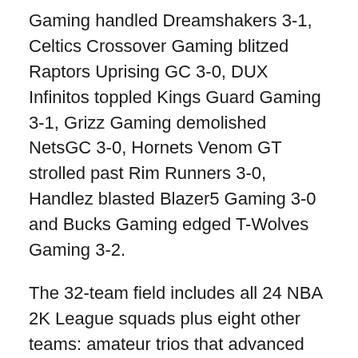Gaming handled Dreamshakers 3-1, Celtics Crossover Gaming blitzed Raptors Uprising GC 3-0, DUX Infinitos toppled Kings Guard Gaming 3-1, Grizz Gaming demolished NetsGC 3-0, Hornets Venom GT strolled past Rim Runners 3-0, Handlez blasted Blazer5 Gaming 3-0 and Bucks Gaming edged T-Wolves Gaming 3-2.
The 32-team field includes all 24 NBA 2K League squads plus eight other teams: amateur trios that advanced through qualifying, plus community teams featuring 2K social media influencers.